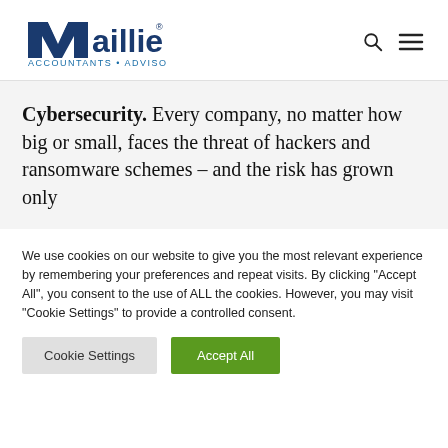[Figure (logo): Maillie Accountants Advisors logo with blue M letterform and blue text]
Cybersecurity. Every company, no matter how big or small, faces the threat of hackers and ransomware schemes – and the risk has grown only
We use cookies on our website to give you the most relevant experience by remembering your preferences and repeat visits. By clicking "Accept All", you consent to the use of ALL the cookies. However, you may visit "Cookie Settings" to provide a controlled consent.
Cookie Settings | Accept All